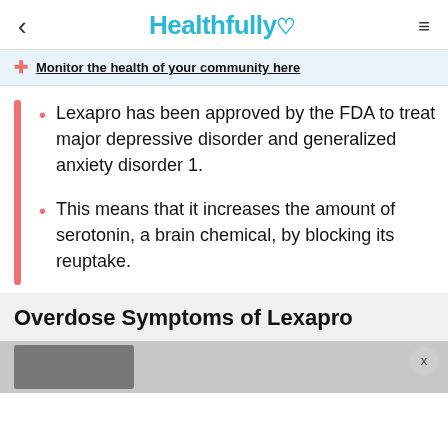< Healthfully ♡ ≡
Monitor the health of your community here
Lexapro has been approved by the FDA to treat major depressive disorder and generalized anxiety disorder 1.
This means that it increases the amount of serotonin, a brain chemical, by blocking its reuptake.
Overdose Symptoms of Lexapro
[Figure (photo): A photo thumbnail at the bottom of the page]